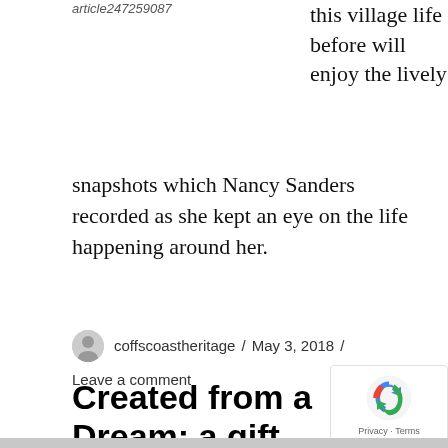article247259087
this village life before will enjoy the lively snapshots which Nancy Sanders recorded as she kept an eye on the life happening around her.
coffscoastheritage / May 3, 2018 / Leave a comment
Created from a Dream: a gift of calligraphy